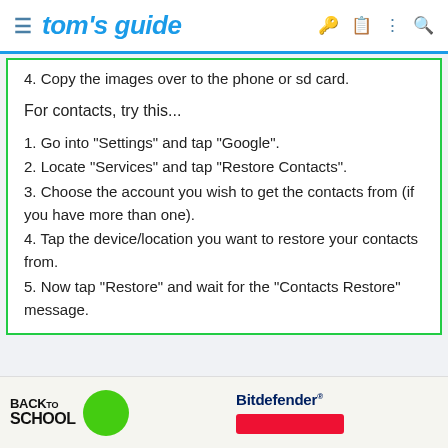tom's guide
4. Copy the images over to the phone or sd card.
For contacts, try this...
1. Go into "Settings" and tap "Google".
2. Locate "Services" and tap "Restore Contacts".
3. Choose the account you wish to get the contacts from (if you have more than one).
4. Tap the device/location you want to restore your contacts from.
5. Now tap "Restore" and wait for the "Contacts Restore" message.
[Figure (screenshot): Advertisement banner with Back to School graphic with green circle and Bitdefender logo with red button]